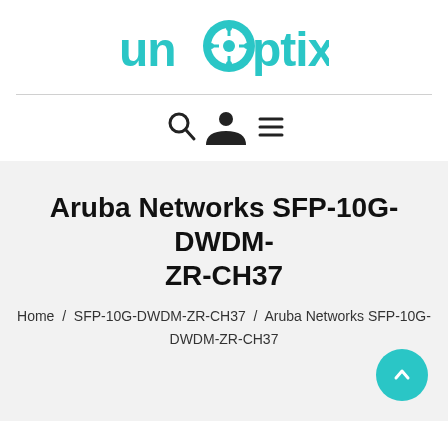[Figure (logo): Unoptix logo with teal circuit-board O icon and teal lowercase text 'unoptix']
[Figure (infographic): Navigation icons: magnifying glass (search), person (account), and hamburger menu lines]
Aruba Networks SFP-10G-DWDM-ZR-CH37
Home / SFP-10G-DWDM-ZR-CH37 / Aruba Networks SFP-10G-DWDM-ZR-CH37